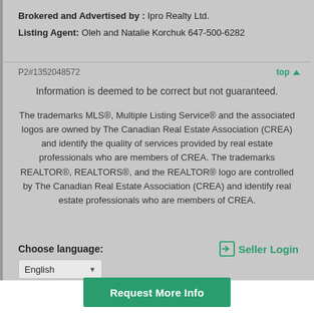Brokered and Advertised by : Ipro Realty Ltd.
Listing Agent: Oleh and Natalie Korchuk 647-500-6282
P2#1352048572
top ▲
Information is deemed to be correct but not guaranteed.
The trademarks MLS®, Multiple Listing Service® and the associated logos are owned by The Canadian Real Estate Association (CREA) and identify the quality of services provided by real estate professionals who are members of CREA. The trademarks REALTOR®, REALTORS®, and the REALTOR® logo are controlled by The Canadian Real Estate Association (CREA) and identify real estate professionals who are members of CREA.
Choose language:
Seller Login
English
Request More Info